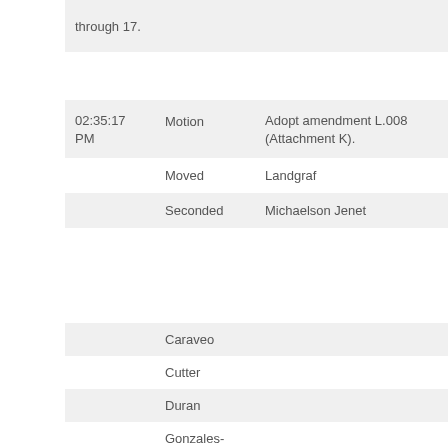through 17.
| Time | Type | Detail | Moved | Seconded |
| --- | --- | --- | --- | --- |
| 02:35:17 PM | Motion | Adopt amendment L.008 (Attachment K). |  |  |
|  | Moved | Landgraf |  |  |
|  | Seconded | Michaelson Jenet |  |  |
Caraveo
Cutter
Duran
Gonzales-Gutierrez